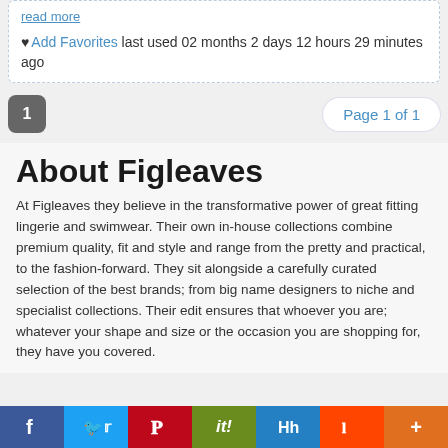read more
♥ Add Favorites last used 02 months 2 days 12 hours 29 minutes ago
1   Page 1 of 1
About Figleaves
At Figleaves they believe in the transformative power of great fitting lingerie and swimwear. Their own in-house collections combine premium quality, fit and style and range from the pretty and practical, to the fashion-forward. They sit alongside a carefully curated selection of the best brands; from big name designers to niche and specialist collections. Their edit ensures that whoever you are; whatever your shape and size or the occasion you are shopping for, they have you covered.
f  Twitter  Pinterest  it!  Hh  Reddit  +